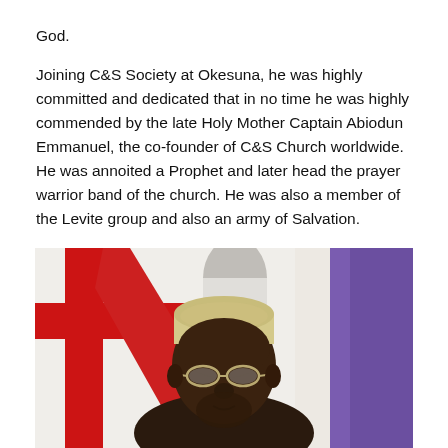God.
Joining C&S Society at Okesuna, he was highly committed and dedicated that in no time he was highly commended by the late Holy Mother Captain Abiodun Emmanuel, the co-founder of C&S Church worldwide. He was annoited a Prophet and later head the prayer warrior band of the church. He was also a member of the Levite group and also an army of Salvation.
[Figure (photo): An elderly man wearing a cream-colored traditional cap and glasses, photographed from the shoulders up. Behind him are people in white robes and a large white banner/flag with a red cross design, and purple sashes visible on the right.]